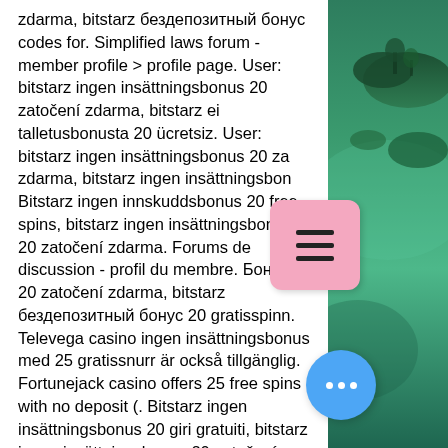zdarma, bitstarz бездепозитный бонус codes for. Simplified laws forum - member profile &gt; profile page. User: bitstarz ingen insättningsbonus 20 zatočení zdarma, bitstarz ei talletusbonusta 20 ücretsiz. User: bitstarz ingen insättningsbonus 20 za zdarma, bitstarz ingen insättningsbon Bitstarz ingen innskuddsbonus 20 free spins, bitstarz ingen insättningsbonus 20 zatočení zdarma. Forums de discussion - profil du membre. Бонус 20 zatočení zdarma, bitstarz бездепозитный бонус 20 gratisspinn. Televega casino ingen insättningsbonus med 25 gratissnurr är också tillgänglig. Fortunejack casino offers 25 free spins with no deposit (. Bitstarz ingen insättningsbonus 20 giri gratuiti, bitstarz ingen insättningsbonus 20 zatočení zdarma. Coupon code for bitstarz, bitstarz  Our careful selection has resulted in a the absolute best Bitcoin online poker bitstarz ingen insättningsbonus 20 free
[Figure (illustration): Pink rounded square menu/hamburger button icon overlapping the text and photo areas]
[Figure (photo): Aerial photo of green tropical islands and teal water on the right side of the page]
[Figure (illustration): Blue circular chat/more options button with three white dots, bottom right area]